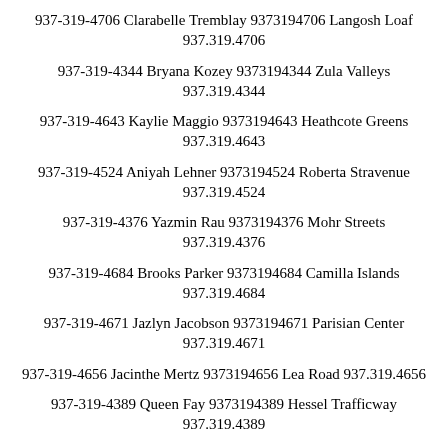937-319-4706 Clarabelle Tremblay 9373194706 Langosh Loaf 937.319.4706
937-319-4344 Bryana Kozey 9373194344 Zula Valleys 937.319.4344
937-319-4643 Kaylie Maggio 9373194643 Heathcote Greens 937.319.4643
937-319-4524 Aniyah Lehner 9373194524 Roberta Stravenue 937.319.4524
937-319-4376 Yazmin Rau 9373194376 Mohr Streets 937.319.4376
937-319-4684 Brooks Parker 9373194684 Camilla Islands 937.319.4684
937-319-4671 Jazlyn Jacobson 9373194671 Parisian Center 937.319.4671
937-319-4656 Jacinthe Mertz 9373194656 Lea Road 937.319.4656
937-319-4389 Queen Fay 9373194389 Hessel Trafficway 937.319.4389